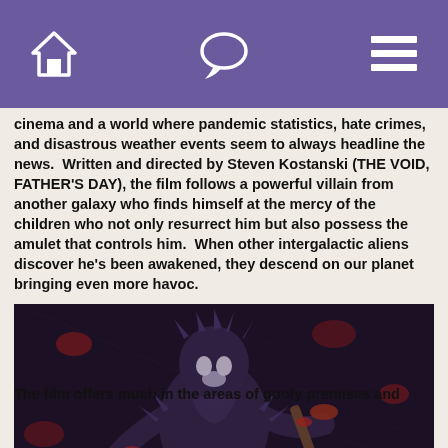[navigation icons: home, chat, menu]
cinema and a world where pandemic statistics, hate crimes, and disastrous weather events seem to always headline the news.  Written and directed by Steven Kostanski (THE VOID, FATHER'S DAY), the film follows a powerful villain from another galaxy who finds himself at the mercy of the children who not only resurrect him but also possess the amulet that controls him.  When other intergalactic aliens discover he's been awakened, they descend on our planet bringing even more havoc.
[Figure (photo): A dark alien/monster creature in armor holding a weapon, standing in a dimly lit industrial or post-apocalyptic setting. The creature has a textured, scaly appearance with dark purple-grey coloring and red accents.]
The film offers much in the areas of goofy premises and